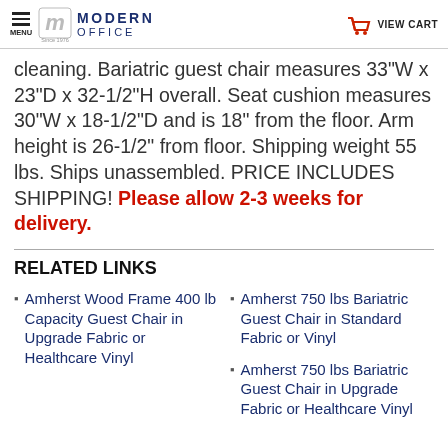MENU | Modern Office | VIEW CART
cleaning. Bariatric guest chair measures 33"W x 23"D x 32-1/2"H overall. Seat cushion measures 30"W x 18-1/2"D and is 18" from the floor. Arm height is 26-1/2" from floor. Shipping weight 55 lbs. Ships unassembled. PRICE INCLUDES SHIPPING! Please allow 2-3 weeks for delivery.
RELATED LINKS
Amherst Wood Frame 400 lb Capacity Guest Chair in Upgrade Fabric or Healthcare Vinyl
Amherst 750 lbs Bariatric Guest Chair in Standard Fabric or Vinyl
Amherst 750 lbs Bariatric Guest Chair in Upgrade Fabric or Healthcare Vinyl